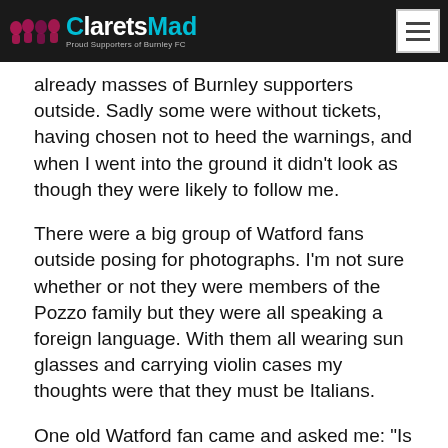ClaretsMad — Proud Supporters of Burnley FC
already masses of Burnley supporters outside. Sadly some were without tickets, having chosen not to heed the warnings, and when I went into the ground it didn't look as though they were likely to follow me.
There were a big group of Watford fans outside posing for photographs. I'm not sure whether or not they were members of the Pozzo family but they were all speaking a foreign language. With them all wearing sun glasses and carrying violin cases my thoughts were that they must be Italians.
One old Watford fan came and asked me: "Is old Bob Lord still running his butchers up there in Burnley?" He appeared surprised when I told him that Lord had died over 32 years ago. Apparently this bloke had done business with Lord on Green Shield Stamps (and that's one for the older readers) a long time ago.